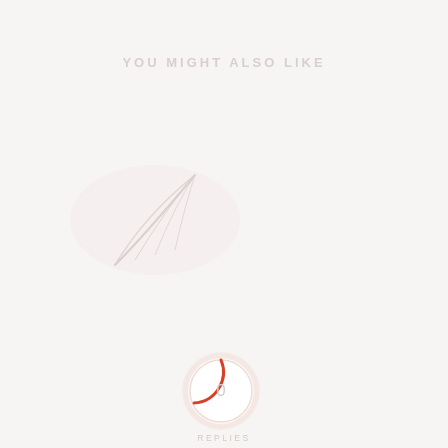YOU MIGHT ALSO LIKE
[Figure (illustration): Faint illustration of a feather or pen quill in very light pinkish-gray tones on the left side of the page]
[Figure (infographic): A circular badge/widget with a red arc on white circle inside a soft pink outer glow ring, showing '0' in the center]
REPLIES
LEAVE A REPLY
Want to join the discussion?
Feel free to contribute!
Name